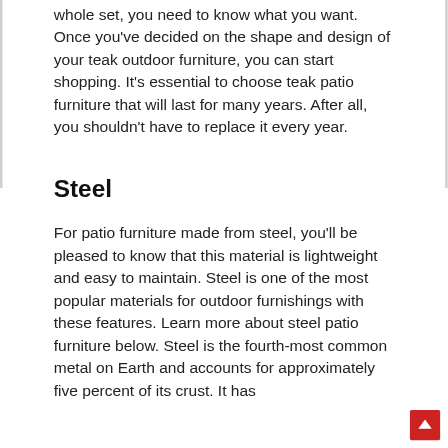whole set, you need to know what you want. Once you've decided on the shape and design of your teak outdoor furniture, you can start shopping. It's essential to choose teak patio furniture that will last for many years. After all, you shouldn't have to replace it every year.
Steel
For patio furniture made from steel, you'll be pleased to know that this material is lightweight and easy to maintain. Steel is one of the most popular materials for outdoor furnishings with these features. Learn more about steel patio furniture below. Steel is the fourth-most common metal on Earth and accounts for approximately five percent of its crust. It has